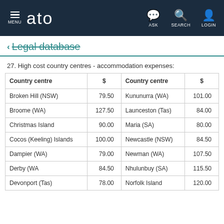MENU | ato | ASK | SEARCH | LOGIN
← Legal database
27. High cost country centres - accommodation expenses:
| Country centre | $ | Country centre | $ |
| --- | --- | --- | --- |
| Broken Hill (NSW) | 79.50 | Kununurra (WA) | 101.00 |
| Broome (WA) | 127.50 | Launceston (Tas) | 84.00 |
| Christmas Island | 90.00 | Maria (SA) | 80.00 |
| Cocos (Keeling) Islands | 100.00 | Newcastle (NSW) | 84.50 |
| Dampier (WA) | 79.00 | Newman (WA) | 107.50 |
| Derby (WA | 84.50 | Nhulunbuy (SA) | 115.50 |
| Devonport (Tas) | 78.00 | Norfolk Island | 120.00 |